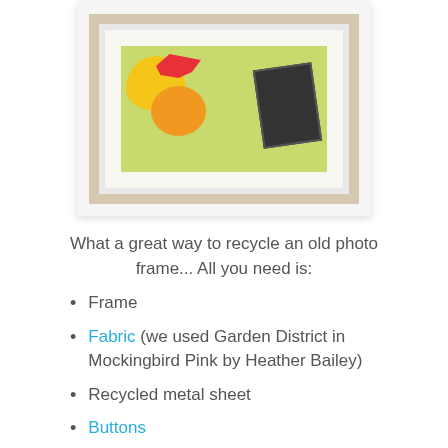[Figure (photo): A white ornate picture frame containing colorful floral fabric with yellow and orange flowers on a green background, a red cardinal bird silhouette, and a small black and white photograph leaning against it. Frame is sitting on a light gray surface.]
What a great way to recycle an old photo frame... All you need is:
Frame
Fabric (we used Garden District in Mockingbird Pink by Heather Bailey)
Recycled metal sheet
Buttons
Magnets
Paint